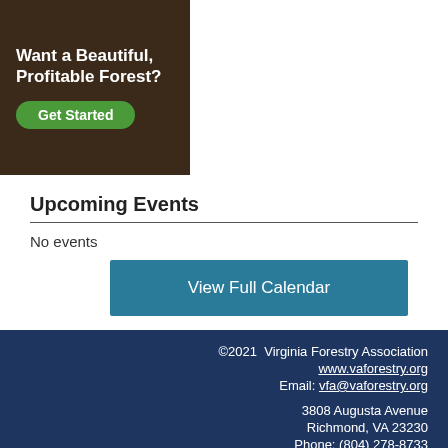[Figure (illustration): Advertisement banner with dark brown background reading 'Want a Beautiful, Profitable Forest?' with a green rounded 'Get Started' button]
Upcoming Events
No events
View Full Calendar
©2021 Virginia Forestry Association
www.vaforestry.org
Email: vfa@vaforestry.org
3808 Augusta Avenue
Richmond, VA 23230
Phone: (804) 278-8733
Fax: (804) 278-8774